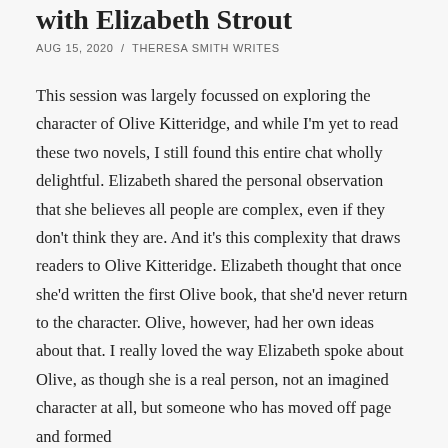with Elizabeth Strout
AUG 15, 2020 / THERESA SMITH WRITES
This session was largely focussed on exploring the character of Olive Kitteridge, and while I'm yet to read these two novels, I still found this entire chat wholly delightful. Elizabeth shared the personal observation that she believes all people are complex, even if they don't think they are. And it's this complexity that draws readers to Olive Kitteridge. Elizabeth thought that once she'd written the first Olive book, that she'd never return to the character. Olive, however, had her own ideas about that. I really loved the way Elizabeth spoke about Olive, as though she is a real person, not an imagined character at all, but someone who has moved off page and formed